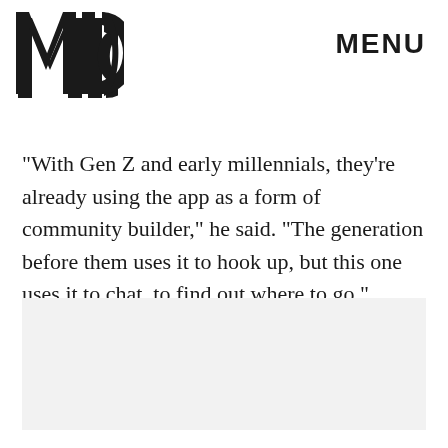MIC   MENU
"With Gen Z and early millennials, they're already using the app as a form of community builder," he said. "The generation before them uses it to hook up, but this one uses it to chat, to find out where to go."
[Figure (photo): Light gray placeholder image area]